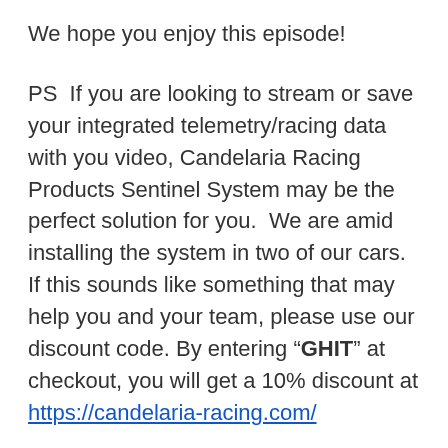We hope you enjoy this episode!
PS  If you are looking to stream or save your integrated telemetry/racing data with you video, Candelaria Racing Products Sentinel System may be the perfect solution for you.  We are amid installing the system in two of our cars.  If this sounds like something that may help you and your team, please use our discount code. By entering “GHIT” at checkout, you will get a 10% discount at https://candelaria-racing.com/
PS2  Please do not forget that if you are looking to add an Apex Pro to your driving telemetry system, do not forget to use our discount code for all Apex